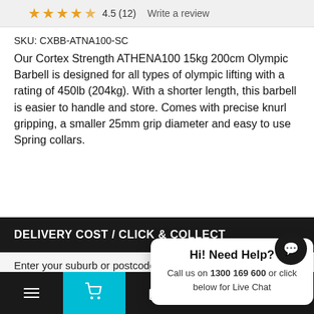[Figure (other): Star rating bar showing 4.5 stars out of 5 (12 reviews) with a 'Write a review' link]
SKU: CXBB-ATNA100-SC
Our Cortex Strength ATHENA100 15kg 200cm Olympic Barbell is designed for all types of olympic lifting with a rating of 450lb (204kg). With a shorter length, this barbell is easier to handle and store. Comes with precise knurl gripping, a smaller 25mm grip diameter and easy to use Spring collars.
DELIVERY COST / CLICK & COLLECT
Enter your suburb or postcode
Enter suburb or postcode
FIND
Start typing and choose your suburb from the list
Hi! Need Help?
Call us on 1300 169 600 or click below for Live Chat
ADDIT
[Figure (screenshot): Bottom navigation bar with hamburger menu, cart (cyan background), basket with badge 0, heart, and up arrow icons]